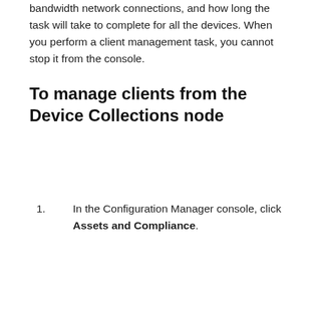bandwidth network connections, and how long the task will take to complete for all the devices. When you perform a client management task, you cannot stop it from the console.
To manage clients from the Device Collections node
In the Configuration Manager console, click Assets and Compliance.